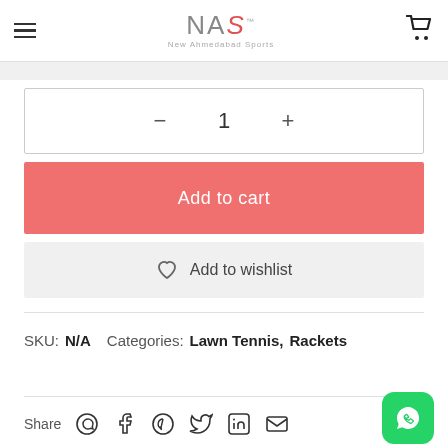NAS New Ahmedabad Sports
— 1 +
Add to cart
Add to wishlist
SKU: N/A   Categories: Lawn Tennis, Rackets
Share